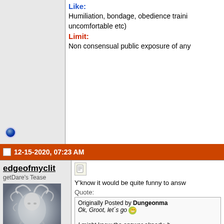Like: Humiliation, bondage, obedience training, uncomfortable etc)
Limit: Non consensual public exposure of any
12-15-2020, 07:23 AM
edgeofmyclit
getDare's Tease
[Figure (photo): Avatar photo of a woman with flowing white/silver hair and ethereal appearance]
Join Date: Jun 2020
Location: Back and forth between Earth and my home planet Mars
Posts: 1,861
Blog Entries: 4
Y'know it would be quite funny to answ
Quote: Originally Posted by Dungeonma
Ok, Groot, let´s go
I might know the answer already, b
Endgame! Although I've always be
What is your favorite food ?
It's a four way it... between garlic b
Speaking of exploring new places,
Italy! Specifically Venice. It's been
Ok, back to kink for one:
You said your maximum orgasms
Let´s say you are tied to the bed